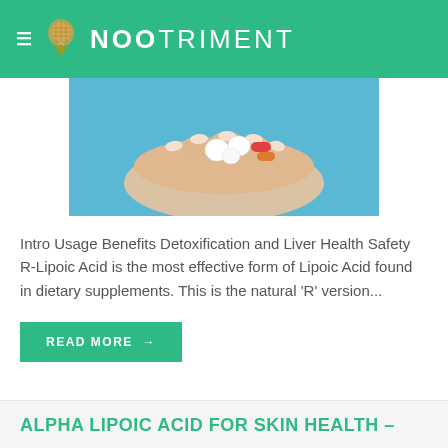NOOTRIMENT
[Figure (photo): A hand holding multiple pills and capsules of various colors (white, red, orange) against a blue background]
Intro Usage Benefits Detoxification and Liver Health Safety R-Lipoic Acid is the most effective form of Lipoic Acid found in dietary supplements. This is the natural 'R' version...
READ MORE →
ALPHA LIPOIC ACID FOR SKIN HEALTH –